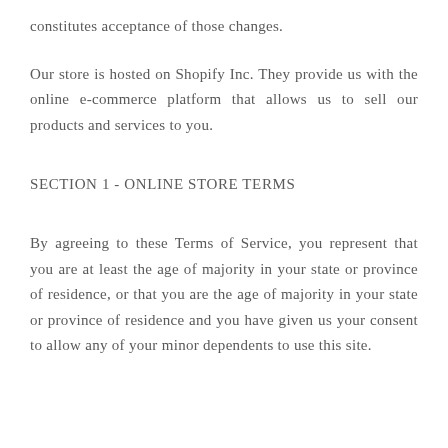constitutes acceptance of those changes.
Our store is hosted on Shopify Inc. They provide us with the online e-commerce platform that allows us to sell our products and services to you.
SECTION 1 - ONLINE STORE TERMS
By agreeing to these Terms of Service, you represent that you are at least the age of majority in your state or province of residence, or that you are the age of majority in your state or province of residence and you have given us your consent to allow any of your minor dependents to use this site.